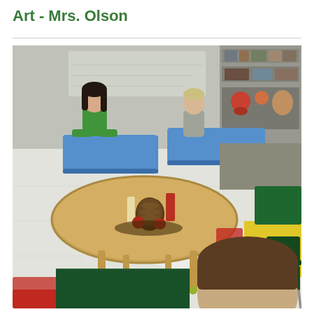Art - Mrs. Olson
[Figure (photo): Elementary art classroom with children seated at desks and a round table in the center holding art supplies and decorative items. Two children are visible in the background working at blue desks, a boy facing forward in the foreground, and various colorful chairs (red, green, dark green) visible throughout the room.]